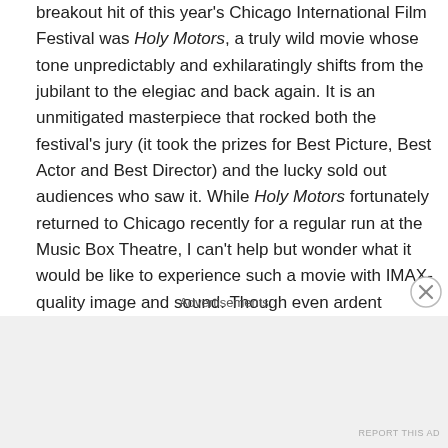breakout hit of this year's Chicago International Film Festival was Holy Motors, a truly wild movie whose tone unpredictably and exhilaratingly shifts from the jubilant to the elegiac and back again. It is an unmitigated masterpiece that rocked both the festival's jury (it took the prizes for Best Picture, Best Actor and Best Director) and the lucky sold out audiences who saw it. While Holy Motors fortunately returned to Chicago recently for a regular run at the Music Box Theatre, I can't help but wonder what it would be like to experience such a movie with IMAX-quality image and sound. Though even ardent admirers of Holy Motors are likely to see that film's non-narrative elements as a hard sell for the kind of "general audiences" that tend to populate IMAX theaters, I'm not so
Advertisements